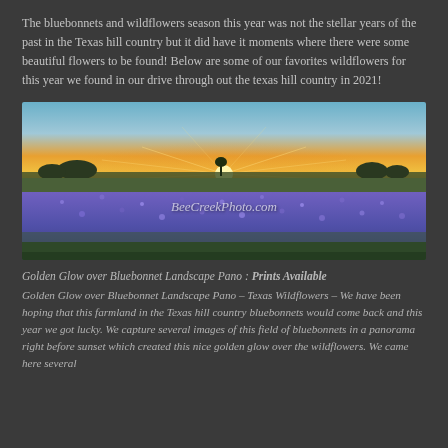The bluebonnets and wildflowers season this year was not the stellar years of the past in the Texas hill country but it did have it moments where there were some beautiful flowers to be found! Below are some of our favorites wildflowers for this year we found in our drive through out the texas hill country in 2021!
[Figure (photo): Panoramic sunset photo of a field of bluebonnets in Texas hill country with golden sun rays over the horizon, watermark BeeCreekPhoto.com visible]
Golden Glow over Bluebonnet Landscape Pano : Prints Available
Golden Glow over Bluebonnet Landscape Pano – Texas Wildflowers – We have been hoping that this farmland in the Texas hill country bluebonnets would come back and this year we got lucky. We capture several images of this field of bluebonnets in a panorama right before sunset which created this nice golden glow over the wildflowers. We came here several